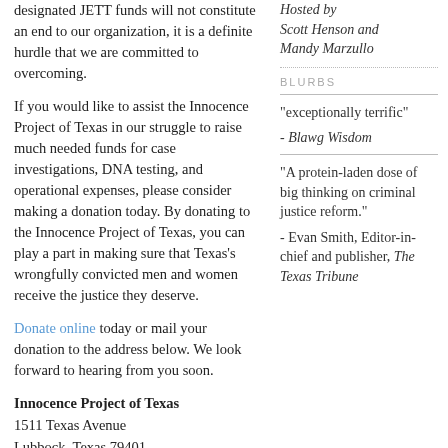designated JETT funds will not constitute an end to our organization, it is a definite hurdle that we are committed to overcoming.
If you would like to assist the Innocence Project of Texas in our struggle to raise much needed funds for case investigations, DNA testing, and operational expenses, please consider making a donation today. By donating to the Innocence Project of Texas, you can play a part in making sure that Texas's wrongfully convicted men and women receive the justice they deserve.
Donate online today or mail your donation to the address below. We look forward to hearing from you soon.
Innocence Project of Texas
1511 Texas Avenue
Lubbock, Texas 79401
Please help if you're able, and the more zeroes you can tack onto the end of the contribution, the
Hosted by Scott Henson and Mandy Marzullo
BLURBS
"exceptionally terrific"
- Blawg Wisdom
"A protein-laden dose of big thinking on criminal justice reform."
- Evan Smith, Editor-in-chief and publisher, The Texas Tribune